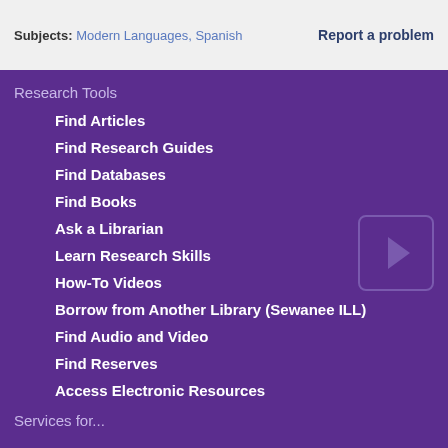Subjects: Modern Languages, Spanish  Report a problem
Research Tools
Find Articles
Find Research Guides
Find Databases
Find Books
Ask a Librarian
Learn Research Skills
How-To Videos
Borrow from Another Library (Sewanee ILL)
Find Audio and Video
Find Reserves
Access Electronic Resources
Services for...